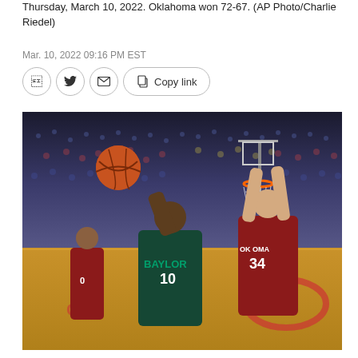Thursday, March 10, 2022. Oklahoma won 72-67. (AP Photo/Charlie Riedel)
Mar. 10, 2022 09:16 PM EST
[Figure (photo): Basketball game photo showing a Baylor player wearing number 10 attempting a layup while an Oklahoma player wearing number 34 defends near the basket. Another Oklahoma player wearing number 0 is visible in the background. The game is played indoors with a large crowd visible. The Big 12 logo and Oklahoma logo are visible on the court floor.]